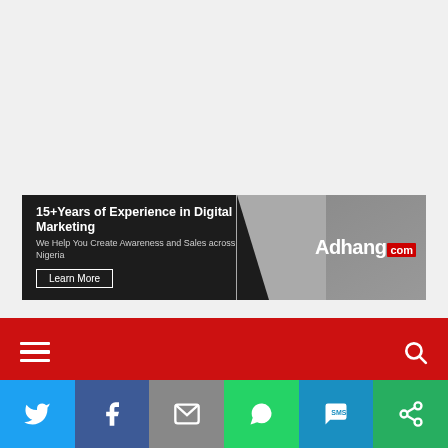[Figure (screenshot): Ad banner: 15+Years of Experience in Digital Marketing. We Help You Create Awareness and Sales across Nigeria. Learn More button. Adhang.com logo with woman in Adhang t-shirt.]
Navigation bar with hamburger menu and search icon on red background
Home » Entertainment
Entertainment
Reactions As Mercy
[Figure (screenshot): Social share bar with Twitter, Facebook, Email, WhatsApp, SMS, and Share buttons]